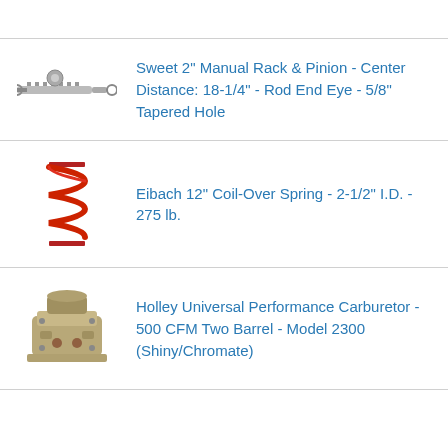Sweet 2" Manual Rack & Pinion - Center Distance: 18-1/4" - Rod End Eye - 5/8" Tapered Hole
Eibach 12" Coil-Over Spring - 2-1/2" I.D. - 275 lb.
Holley Universal Performance Carburetor - 500 CFM Two Barrel - Model 2300 (Shiny/Chromate)